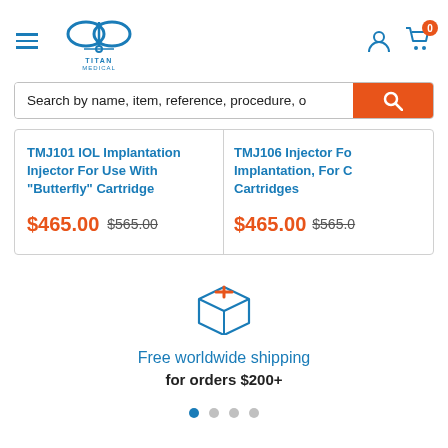[Figure (logo): Titan Medical logo with stylized fish/infinity symbol in blue, text TITAN MEDICAL below]
Search by name, item, reference, procedure, o
TMJ101 IOL Implantation Injector For Use With "Butterfly" Cartridge
$465.00 $565.00
TMJ106 Injector For Implantation, For C Cartridges
$465.00 $565.0
[Figure (illustration): Blue outline package/box icon with orange stripe on top]
Free worldwide shipping
for orders $200+